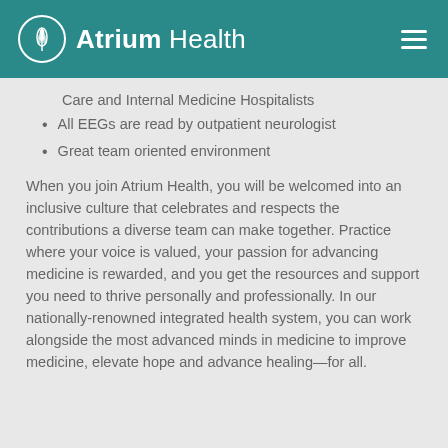Atrium Health
Care and Internal Medicine Hospitalists
All EEGs are read by outpatient neurologist
Great team oriented environment
When you join Atrium Health, you will be welcomed into an inclusive culture that celebrates and respects the contributions a diverse team can make together. Practice where your voice is valued, your passion for advancing medicine is rewarded, and you get the resources and support you need to thrive personally and professionally. In our nationally-renowned integrated health system, you can work alongside the most advanced minds in medicine to improve medicine, elevate hope and advance healing—for all.